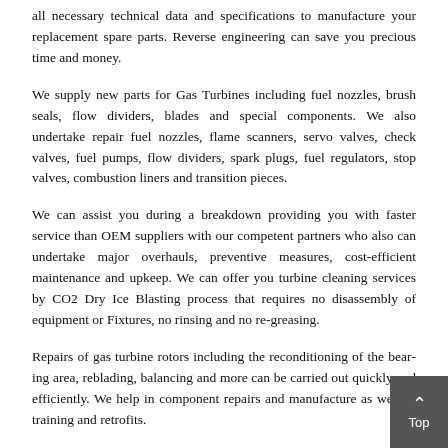all necessary technical data and specifications to manufacture your replacement spare parts. Reverse engineering can save you precious time and money.
We supply new parts for Gas Turbines including fuel nozzles, brush seals, flow dividers, blades and special components. We also undertake repair fuel nozzles, flame scanners, servo valves, check valves, fuel pumps, flow dividers, spark plugs, fuel regulators, stop valves, combustion liners and transition pieces.
We can assist you during a breakdown providing you with faster service than OEM suppliers with our competent partners who also can undertake major overhauls, preventive measures, cost-efficient maintenance and upkeep. We can offer you turbine cleaning services by CO2 Dry Ice Blasting process that requires no disassembly of equipment or Fixtures, no rinsing and no re-greasing.
Repairs of gas turbine rotors including the reconditioning of the bearing area, reblading, balancing and more can be carried out quickly and efficiently. We help in component repairs and manufacture as well as training and retrofits.